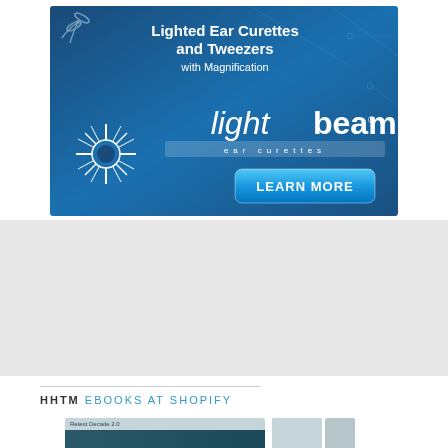[Figure (advertisement): Lightbeam ear curettes advertisement banner with blue gradient background, starburst logo, scissors graphic, brand name 'lightbeam ear curettes', text 'Lighted Ear Curettes and Tweezers with Magnification', and a 'LEARN MORE' button]
HHTM EBOOKS AT SHOPIFY
[Figure (photo): Partial view of ebook product images at bottom of page, including what appears to be 'Retest Decade 2.0' book cover]